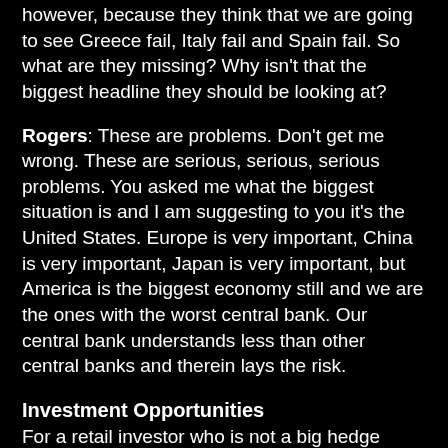however, because they think that we are going to see Greece fail, Italy fail and Spain fail. So what are they missing? Why isn't that the biggest headline they should be looking at?
Rogers: These are problems. Don't get me wrong. These are serious, serious, serious problems. You asked me what the biggest situation is and I am suggesting to you it's the United States. Europe is very important, China is very important, Japan is very important, but America is the biggest economy still and we are the ones with the worst central bank. Our central bank understands less than other central banks and therein lays the risk.
Investment Opportunities
For a retail investor who is not a big hedge fund, who doesn't have all of the algorithms that they can trade off of, who might be say 50% in cash, 80% in cash, what should they do headed in 2012?
Rogers: First, you better make sure that cash is in the right cash. A few years ago many people put their money in